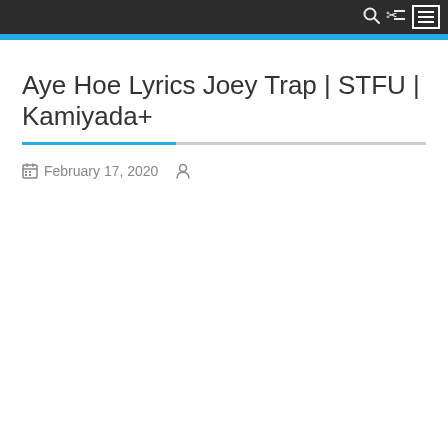Aye Hoe Lyrics Joey Trap | STFU | Kamiyada+
February 17, 2020